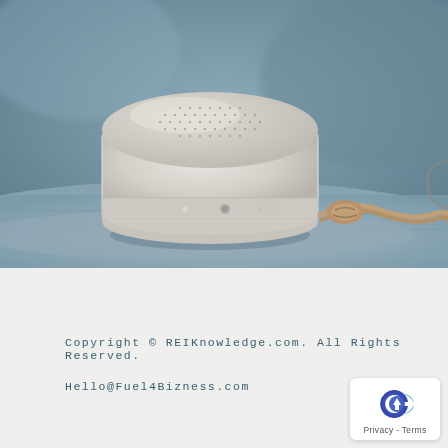[Figure (photo): A round white/silver Bluetooth speaker (resembling Bang & Olufsen Beoplay A1) resting on a grey stone surface, with a knotted tan leather cord beside it. The background is blurred blue-grey tones.]
Copyright © REIKnowledge.com. All Rights Reserved.
Hello@Fuel4Bizness.com
[Figure (logo): A circular logo with a blue-purple gradient forming a 'C' shape with an upward arrow, partially overlapping, with 'Privacy - Terms' text below it, on a white rounded rectangle badge.]